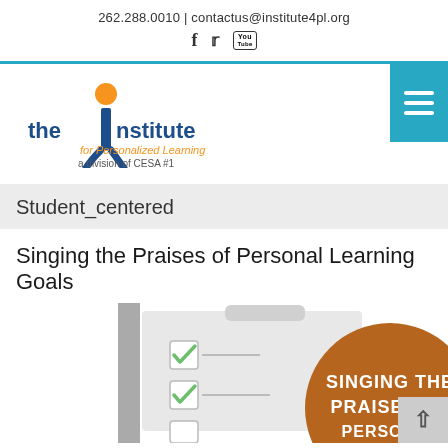262.288.0010 | contactus@institute4pl.org
[Figure (logo): The Institute for Personalized Learning logo - a division of CESA #1, with orange circle and blue 'i' figure]
Student_centered
Singing the Praises of Personal Learning Goals
[Figure (illustration): Illustration of a clipboard with checklist checkmarks and a brown circle with text 'SINGING THE PRAISES OF PERSONAL...']